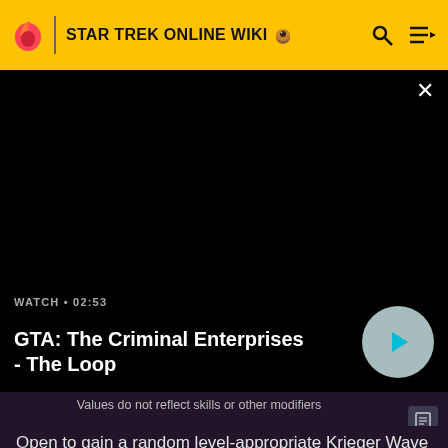STAR TREK ONLINE WIKI
[Figure (screenshot): Black video player panel showing a video thumbnail area with close button (×) in top right]
WATCH • 02:53
GTA: The Criminal Enterprises - The Loop
Values do not reflect skills or other modifiers
Open to gain a random level-appropriate Krieger Wave Disruptor starship or ground weapon.
Value: